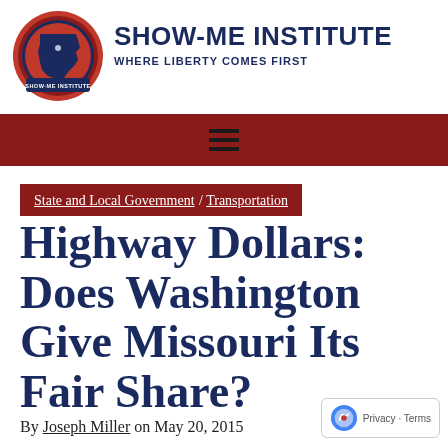[Figure (logo): Show-Me Institute circular logo with Missouri state outline and red/blue design]
SHOW-ME INSTITUTE
WHERE LIBERTY COMES FIRST
Navigation menu bar
State and Local Government / Transportation
Highway Dollars: Does Washington Give Missouri Its Fair Share?
By Joseph Miller on May 20, 2015